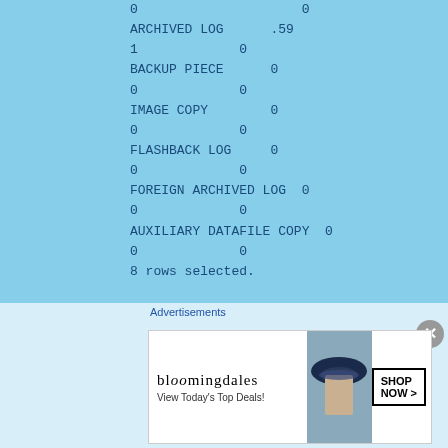0                      0
ARCHIVED LOG        .59                         0
1              0
BACKUP PIECE        0                           0
0              0
IMAGE COPY          0                           0
0              0
FLASHBACK LOG       0                           0
0              0
FOREIGN ARCHIVED LOG  0                         0
0              0
AUXILIARY DATAFILE COPY  0                      0
0              0
8 rows selected.
Advertisements
[Figure (other): Advertisement banner showing Bloomingdale's ad with gradient bar and close button]